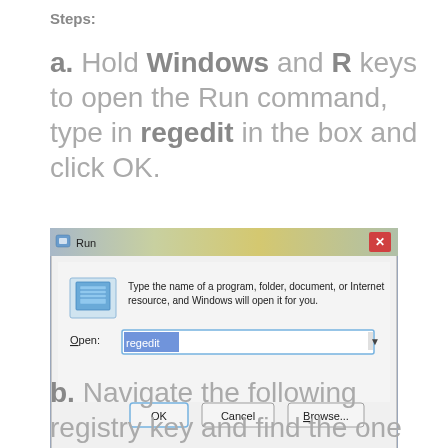Steps:
a. Hold Windows and R keys to open the Run command, type in regedit in the box and click OK.
[Figure (screenshot): Windows Run dialog box with 'regedit' typed in the Open field, showing OK, Cancel, and Browse buttons]
b. Navigate the following registry key and find the one of SQL Server